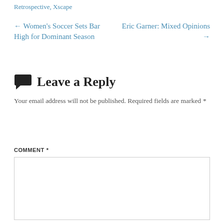Retrospective, Xscape
← Women's Soccer Sets Bar High for Dominant Season
Eric Garner: Mixed Opinions →
Leave a Reply
Your email address will not be published. Required fields are marked *
COMMENT *